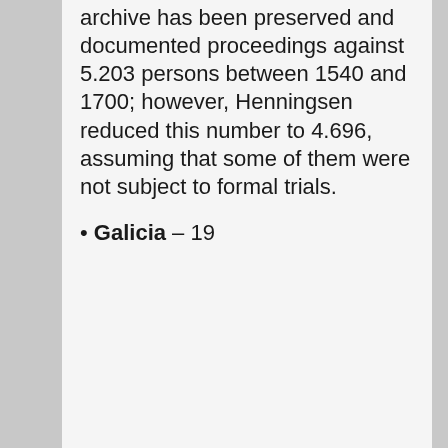archive has been preserved and documented proceedings against 5.203 persons between 1540 and 1700; however, Henningsen reduced this number to 4.696, assuming that some of them were not subject to formal trials.
• Galicia – 19